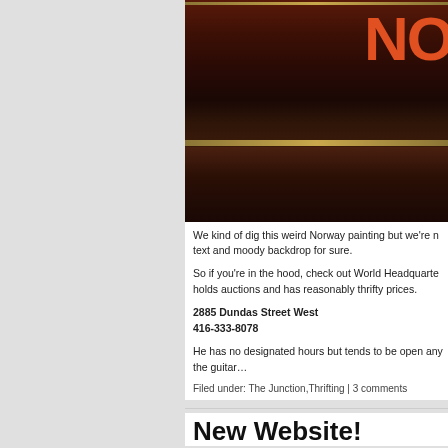[Figure (photo): Close-up photo of a dark, aged painting with orange bold text reading 'NO' partially visible in the upper right, with a gold/wooden frame line visible, dark moody tones throughout]
We kind of dig this weird Norway painting but we're not sure about the text and moody backdrop for sure.
So if you're in the hood, check out World Headquarters. It holds auctions and has reasonably thrifty prices.
2885 Dundas Street West
416-333-8078
He has no designated hours but tends to be open any... the guitar…
Filed under: The Junction,Thrifting | 3 comments
New Website!